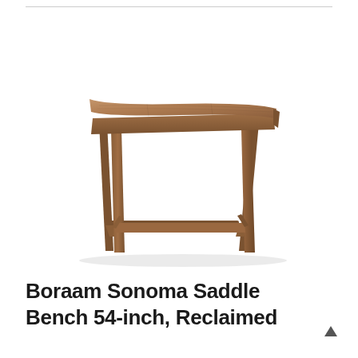[Figure (photo): A wooden saddle bench with a flat rectangular seat, angled legs, and lower cross-bar stretchers, shown in a rustic brown finish against a white background.]
Boraam Sonoma Saddle Bench 54-inch, Reclaimed